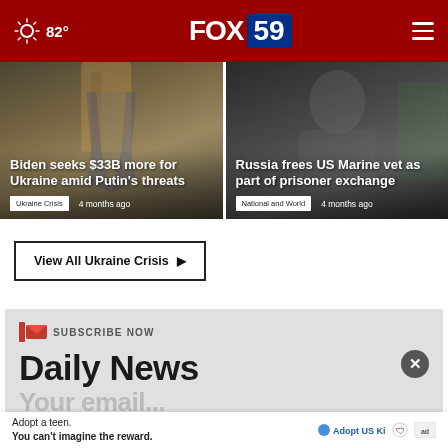82° FOX 59
[Figure (photo): News card: Biden seeks $33B more for Ukraine amid Putin's threats — Ukraine Crisis — 4 months ago]
[Figure (photo): News card: Russia frees US Marine vet as part of prisoner exchange — National and World — 4 months ago]
View All Ukraine Crisis ▶
SUBSCRIBE NOW
Daily News
Adopt a teen. You can't imagine the reward.